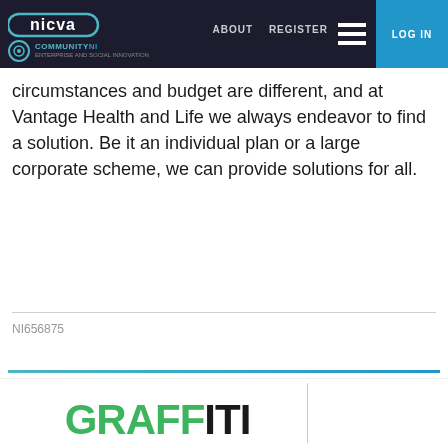NICVA | ABOUT  REGISTER  LOG IN | COMMUNITY NI
Vantage Health and Life was formed to offer the more service, more products and more advice. We realise that everyone's circumstances and budget are different, and at Vantage Health and Life we always endeavor to find a solution. Be it an individual plan or a large corporate scheme, we can provide solutions for all.
NI656875
[Figure (logo): Graffiti logo with green letters for G, R, A, F, F and dark letters for I, T, I, partially visible at bottom of page]